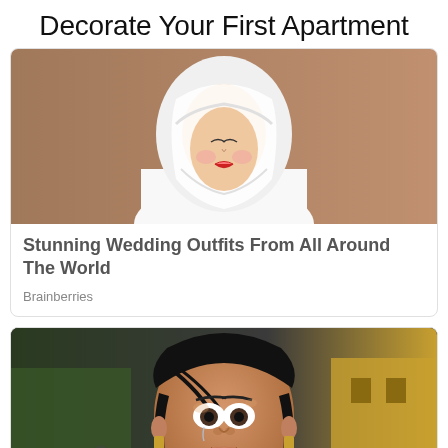Decorate Your First Apartment
[Figure (photo): A person wearing a traditional Japanese white wedding kimono and white hood, looking down, with red lips visible]
Stunning Wedding Outfits From All Around The World
Brainberries
[Figure (photo): Close-up of an Asian woman with a distressed expression, dark hair, with a colorful background of green trees and a yellow building. A red CLOSE button appears at the bottom.]